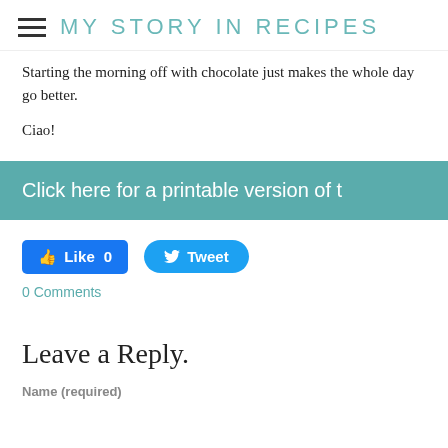MY STORY IN RECIPES
Starting the morning off with chocolate just makes the whole day go better.
Ciao!
Click here for a printable version of t
[Figure (screenshot): Facebook Like button showing Like 0 and Twitter Tweet button]
0 Comments
Leave a Reply.
Name (required)